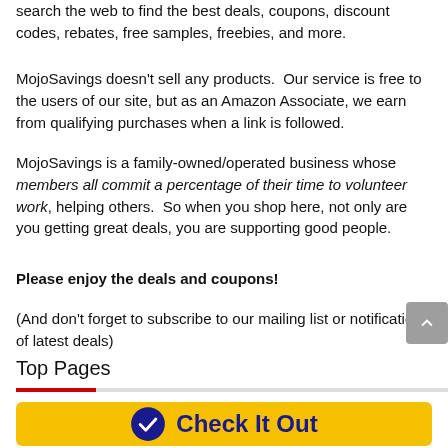search the web to find the best deals, coupons, discount codes, rebates, free samples, freebies, and more.
MojoSavings doesn't sell any products. Our service is free to the users of our site, but as an Amazon Associate, we earn from qualifying purchases when a link is followed.
MojoSavings is a family-owned/operated business whose members all commit a percentage of their time to volunteer work, helping others. So when you shop here, not only are you getting great deals, you are supporting good people.
Please enjoy the deals and coupons!
(And don't forget to subscribe to our mailing list or notifications of latest deals)
Top Pages
[Figure (other): Yellow 'Check It Out' button with blue checkmark circle icon]